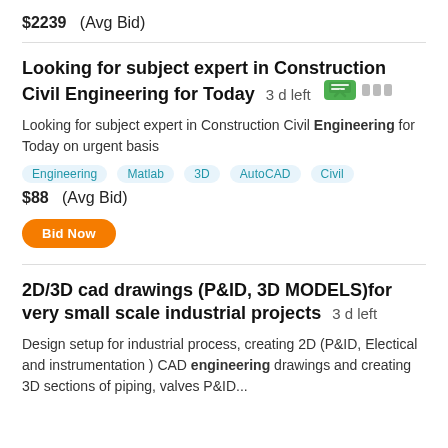$2239  (Avg Bid)
Looking for subject expert in Construction Civil Engineering for Today  3 d left
Looking for subject expert in Construction Civil Engineering for Today on urgent basis
[tags: Engineering, Matlab, 3D, AutoCAD, Civil]
$88  (Avg Bid)
Bid Now
2D/3D cad drawings (P&ID, 3D MODELS)for very small scale industrial projects  3 d left
Design setup for industrial process, creating 2D (P&ID, Electical and instrumentation ) CAD engineering drawings and creating 3D sections of piping, valves P&ID...